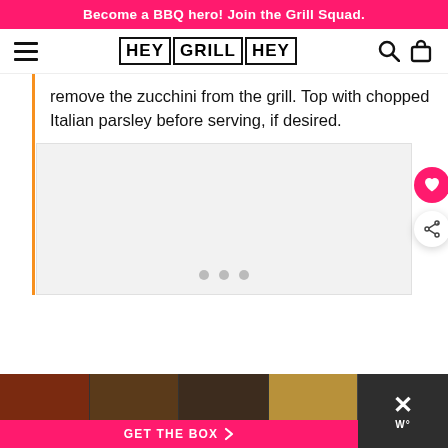Become a BBQ hero! Join the Grill Squad.
[Figure (logo): Hey Grill Hey logo with hamburger menu icon, search icon, and shopping bag icon in a navigation bar]
remove the zucchini from the grill. Top with chopped Italian parsley before serving, if desired.
[Figure (photo): Image carousel placeholder with three navigation dots below, showing a food photo area, with heart (favorite) and share action buttons on the right side]
[Figure (infographic): Bottom promotional bar with food thumbnail images and a pink GET THE BOX button with a close X button on the right]